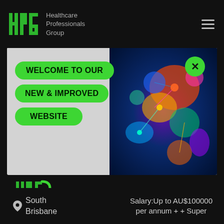HPG Healthcare Professionals Group
WELCOME TO OUR NEW & IMPROVED WEBSITE
[Figure (screenshot): Colorful science/biology image with cells and neurons on the right side of the welcome card]
[Figure (logo): HPG Healthcare Professionals Group logo in green on dark background]
Job Search  Customer Service
ARTICLES | PODCASTS | VIDEOS INSIGHTS | EDUCATIONAL MATERIAL LATEST JOB OPPORTUNITIES
South Brisbane  Salary:Up to AU$100000 per annum + + Super